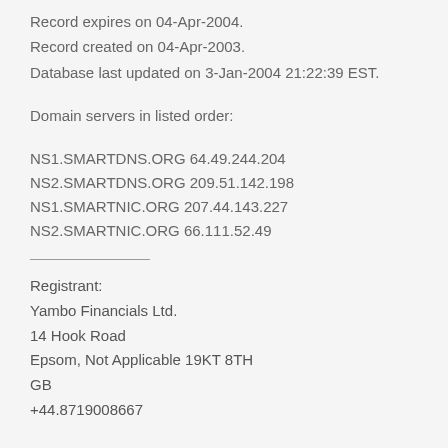Record expires on 04-Apr-2004.
Record created on 04-Apr-2003.
Database last updated on 3-Jan-2004 21:22:39 EST.
Domain servers in listed order:
NS1.SMARTDNS.ORG 64.49.244.204
NS2.SMARTDNS.ORG 209.51.142.198
NS1.SMARTNIC.ORG 207.44.143.227
NS2.SMARTNIC.ORG 66.111.52.49
Registrant:
Yambo Financials Ltd.
14 Hook Road
Epsom, Not Applicable 19KT 8TH
GB
+44.8719008667